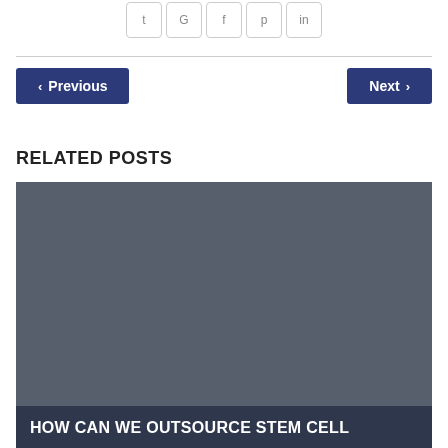[Figure (other): Social media sharing icons row: Twitter, Google+, Facebook, Pinterest, LinkedIn]
< Previous
Next >
RELATED POSTS
[Figure (photo): Dark gray placeholder image for related post thumbnail]
HOW CAN WE OUTSOURCE STEM CELL